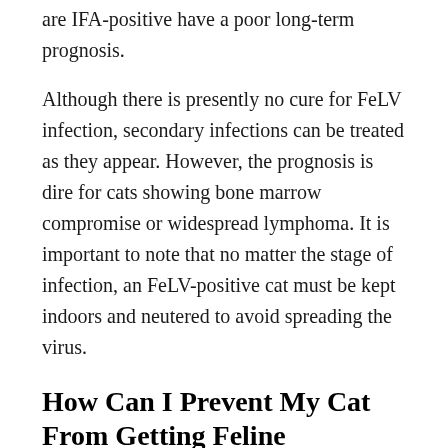are IFA-positive have a poor long-term prognosis.
Although there is presently no cure for FeLV infection, secondary infections can be treated as they appear. However, the prognosis is dire for cats showing bone marrow compromise or widespread lymphoma. It is important to note that no matter the stage of infection, an FeLV-positive cat must be kept indoors and neutered to avoid spreading the virus.
How Can I Prevent My Cat From Getting Feline Leukaemia?
Your cat is at a higher risk of contracting FeLV if it is exposed to infected cats, especially if it is a kitten or young adult. Older cats are less likely to contract the infection because resistance seems to increase with age. A vaccination is available that provides